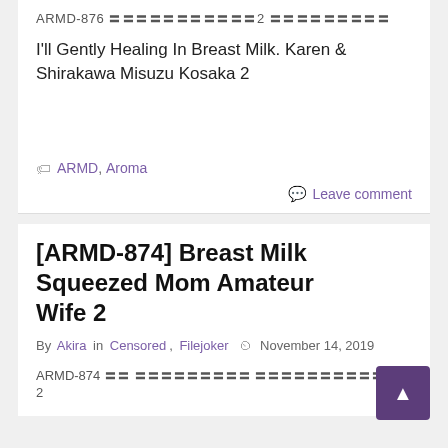ARMD-876 〓〓〓〓〓〓〓〓〓〓〓2 〓〓〓〓〓〓〓〓〓
I'll Gently Healing In Breast Milk. Karen & Shirakawa Misuzu Kosaka 2
ARMD, Aroma
Leave comment
[ARMD-874] Breast Milk Squeezed Mom Amateur Wife 2
By Akira in Censored, Filejoker  November 14, 2019
ARMD-874 〓〓 〓〓〓〓〓〓〓〓〓 〓〓〓〓〓〓〓〓〓〓〓〓 2